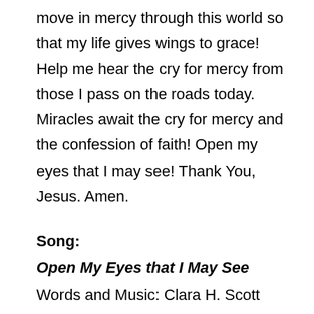move in mercy through this world so that my life gives wings to grace! Help me hear the cry for mercy from those I pass on the roads today. Miracles await the cry for mercy and the confession of faith! Open my eyes that I may see! Thank You, Jesus. Amen.
Song:
Open My Eyes that I May See
Words and Music: Clara H. Scott
1. Open my eyes, that I may see glimpses of truth thou hast for me.
Place in my hands the wonderful key that shall